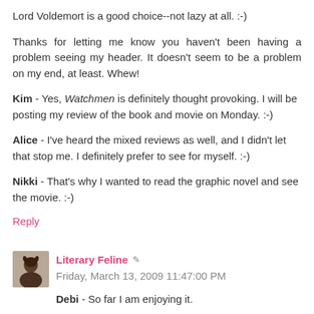Lord Voldemort is a good choice--not lazy at all. :-)
Thanks for letting me know you haven't been having a problem seeing my header. It doesn't seem to be a problem on my end, at least. Whew!
Kim - Yes, Watchmen is definitely thought provoking. I will be posting my review of the book and movie on Monday. :-)
Alice - I've heard the mixed reviews as well, and I didn't let that stop me. I definitely prefer to see for myself. :-)
Nikki - That's why I wanted to read the graphic novel and see the movie. :-)
Reply
Literary Feline  Friday, March 13, 2009 11:47:00 PM
Debi - So far I am enjoying it.